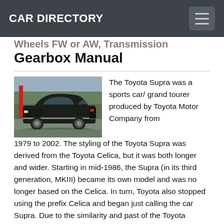CAR DIRECTORY
Wheels FW or AW, Transmission Gearbox Manual
[Figure (photo): Photo of a dark-colored Toyota Supra sports car parked outdoors]
The Toyota Supra was a sports car/ grand tourer produced by Toyota Motor Company from 1979 to 2002. The styling of the Toyota Supra was derived from the Toyota Celica, but it was both longer and wider. Starting in mid-1986, the Supra (in its third generation, MKIII) became its own model and was no longer based on the Celica. In turn, Toyota also stopped using the prefix Celica and began just calling the car Supra. Due to the similarity and past of the Toyota Celica's name, it is frequently mistaken for the Toyota Supra, and